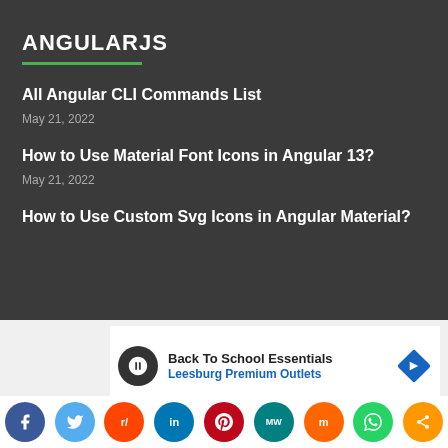ANGULARJS
All Angular CLI Commands List
May 21, 2022
How to Use Material Font Icons in Angular 13?
May 21, 2022
How to Use Custom Svg Icons in Angular Material?
[Figure (infographic): Advertisement banner for Back To School Essentials at Leesburg Premium Outlets with navigation arrow icon]
[Figure (infographic): Social sharing bar with icons for Facebook, Twitter, Reddit, LinkedIn, Pinterest, MeWe, Mix, WhatsApp, and More]